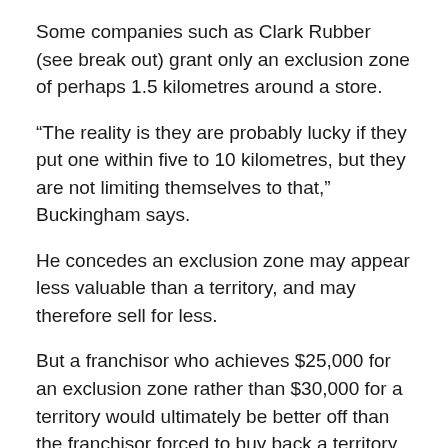Some companies such as Clark Rubber (see break out) grant only an exclusion zone of perhaps 1.5 kilometres around a store.
“The reality is they are probably lucky if they put one within five to 10 kilometres, but they are not limiting themselves to that,” Buckingham says.
He concedes an exclusion zone may appear less valuable than a territory, and may therefore sell for less.
But a franchisor who achieves $25,000 for an exclusion zone rather than $30,000 for a territory would ultimately be better off than the franchisor forced to buy back a territory.
Another option is to grant a primary long-term